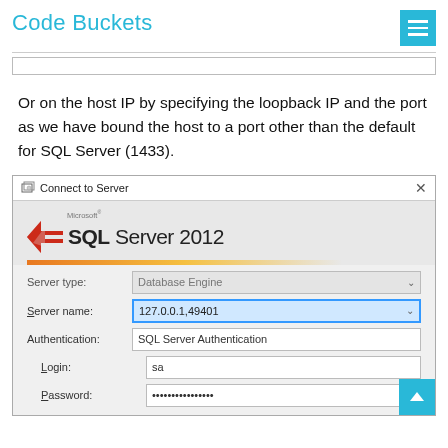Code Buckets
[Figure (screenshot): Partial screenshot of a previous dialog or content area (bottom edge visible)]
Or on the host IP by specifying the loopback IP and the port as we have bound the host to a port other than the default for SQL Server (1433).
[Figure (screenshot): Microsoft SQL Server 2012 'Connect to Server' dialog showing Server type: Database Engine, Server name: 127.0.0.1,49401, Authentication: SQL Server Authentication, Login: sa, Password: (hidden)]